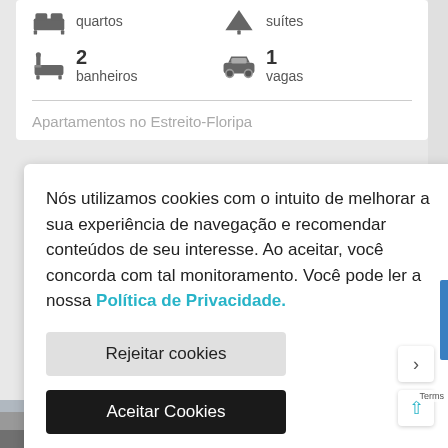2 banheiros
1 vagas
Apartamentos no Estreito-Floripa
Nós utilizamos cookies com o intuito de melhorar a sua experiência de navegação e recomendar conteúdos de seu interesse. Ao aceitar, você concorda com tal monitoramento. Você pode ler a nossa Política de Privacidade.
Rejeitar cookies
Aceitar Cookies
[Figure (photo): Apartment building exterior photo with label Ap0355]
[Figure (photo): Bottom strip showing partial aerial/street view]